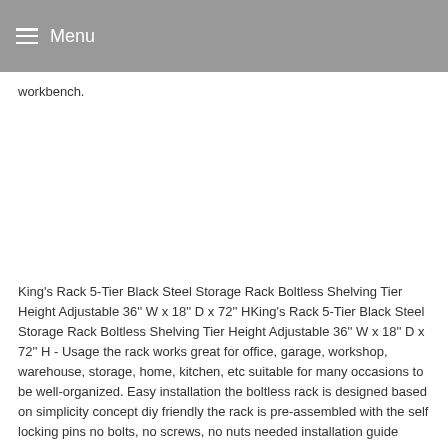Menu
workbench.
King's Rack 5-Tier Black Steel Storage Rack Boltless Shelving Tier Height Adjustable 36'' W x 18'' D x 72'' HKing's Rack 5-Tier Black Steel Storage Rack Boltless Shelving Tier Height Adjustable 36'' W x 18'' D x 72'' H - Usage the rack works great for office, garage, workshop, warehouse, storage, home, kitchen, etc suitable for many occasions to be well-organized. Easy installation the boltless rack is designed based on simplicity concept diy friendly the rack is pre-assembled with the self locking pins no bolts, no screws, no nuts needed installation guide included, assembly is in just minutes. Size 36'' wide x 18'' deep x 72'' high alternative horizontal setting, 72'' wide x 18'' deep x 36'' high. Material posts and beams are made